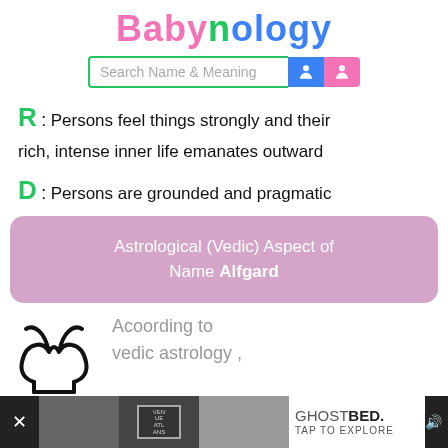Babynology
[Figure (screenshot): Search Name & Meaning input bar with blue and pink person icons]
R : Persons feel things strongly and their rich, intense inner life emanates outward
D : Persons are grounded and pragmatic
Astrological (Vedic) Aspect of Name Alfgard
[Figure (illustration): Aries zodiac sign illustration in black]
Acoording to vedic astrology ,
[Figure (screenshot): Advertisement bar at bottom: GhostBed - TAP TO EXPLORE]